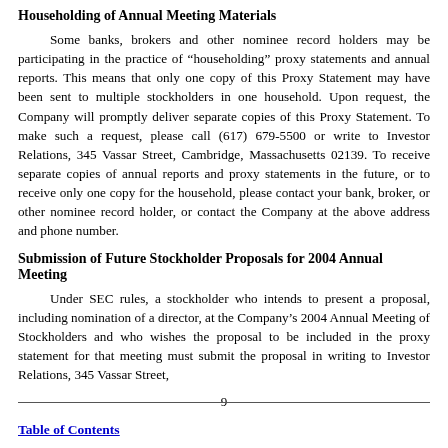Householding of Annual Meeting Materials
Some banks, brokers and other nominee record holders may be participating in the practice of “householding” proxy statements and annual reports. This means that only one copy of this Proxy Statement may have been sent to multiple stockholders in one household. Upon request, the Company will promptly deliver separate copies of this Proxy Statement. To make such a request, please call (617) 679-5500 or write to Investor Relations, 345 Vassar Street, Cambridge, Massachusetts 02139. To receive separate copies of annual reports and proxy statements in the future, or to receive only one copy for the household, please contact your bank, broker, or other nominee record holder, or contact the Company at the above address and phone number.
Submission of Future Stockholder Proposals for 2004 Annual Meeting
Under SEC rules, a stockholder who intends to present a proposal, including nomination of a director, at the Company’s 2004 Annual Meeting of Stockholders and who wishes the proposal to be included in the proxy statement for that meeting must submit the proposal in writing to Investor Relations, 345 Vassar Street,
9
Table of Contents